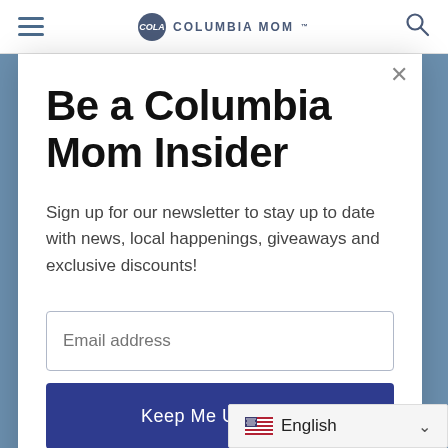Columbia Mom
Be a Columbia Mom Insider
Sign up for our newsletter to stay up to date with news, local happenings, giveaways and exclusive discounts!
Email address
Keep Me Updated!
English